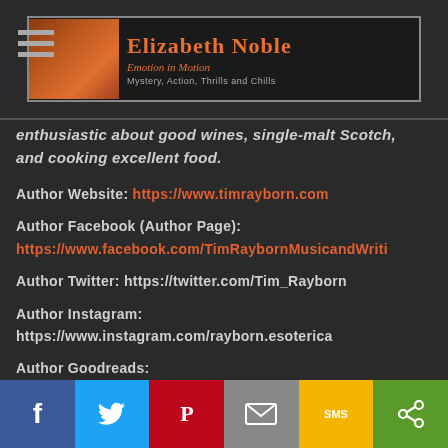Elizabeth Noble — Emotion in Motion — Mystery, Action, Thrills and Chills
enthusiastic about good wines, single-malt Scotch, and cooking excellent food.
Author Website: https://www.timrayborn.com
Author Facebook (Author Page): https://www.facebook.com/TimRaybornMusicandWriti
Author Twitter: https://twitter.com/Tim_Rayborn
Author Instagram: https://www.instagram.com/rayborn.esoterica
Author Goodreads: https://www.goodreads.com/author/show/3160656.Tim
Author Amazon: https://www.amazon.com/Tim-